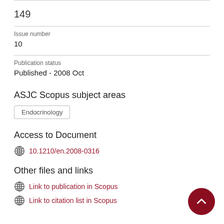149
Issue number
10
Publication status
Published - 2008 Oct
ASJC Scopus subject areas
Endocrinology
Access to Document
10.1210/en.2008-0316
Other files and links
Link to publication in Scopus
Link to citation list in Scopus